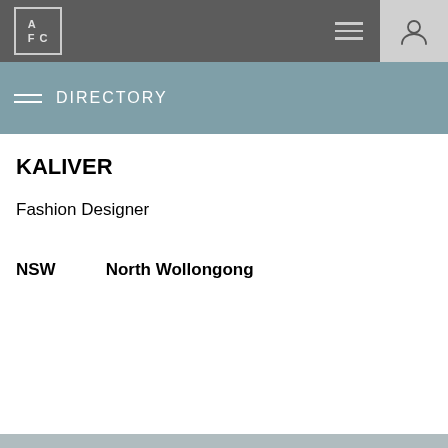AFC | Directory
DIRECTORY
KALIVER
Fashion Designer
NSW    North Wollongong